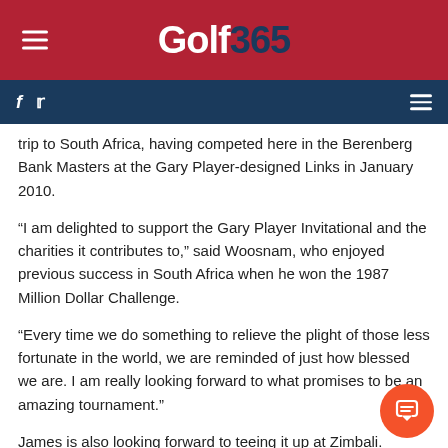Golf 365
trip to South Africa, having competed here in the Berenberg Bank Masters at the Gary Player-designed Links in January 2010.
“I am delighted to support the Gary Player Invitational and the charities it contributes to,” said Woosnam, who enjoyed previous success in South Africa when he won the 1987 Million Dollar Challenge.
“Every time we do something to relieve the plight of those less fortunate in the world, we are reminded of just how blessed we are. I am really looking forward to what promises to be an amazing tournament.”
James is also looking forward to teeing it up at Zimbali.
“It’s really an honour for me to join Gary and the other participants in this charity event,” said James.